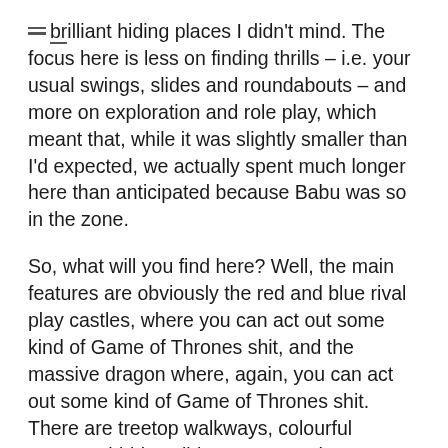brilliant hiding places I didn't mind. The focus here is less on finding thrills – i.e. your usual swings, slides and roundabouts – and more on exploration and role play, which meant that, while it was slightly smaller than I'd expected, we actually spent much longer here than anticipated because Babu was so in the zone.
So, what will you find here? Well, the main features are obviously the red and blue rival play castles, where you can act out some kind of Game of Thrones shit, and the massive dragon where, again, you can act out some kind of Game of Thrones shit. There are treetop walkways, colourful teepees, hidden slides, secret pathways, undulating hills, concealed dens and animal sculptures. The clue is in the name, but the Magic Garden is, like Kew's new Children's Garden, less a traditional playground and more of an exploratory green space, which to be honest is my favourite kind of playground. There's also a nice water-play area with pumps, and a little cafe with a covered seating/picnic area